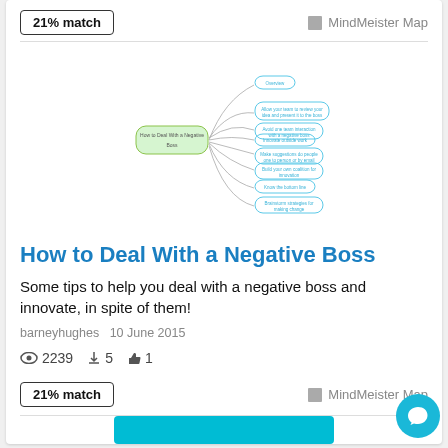21% match
MindMeister Map
[Figure (other): Mind map showing 'How to Deal With a Negative Boss' as center node with branches: Overview, Allow your team to review your idea and present it to the boss, Avoid one team interaction with a negative boss, Innovate outside work, Make suggestions do people one to person or by email, Build your own coalition for innovation, Know the bottom line, Brainstorm strategies for making change]
How to Deal With a Negative Boss
Some tips to help you deal with a negative boss and innovate, in spite of them!
barneyhughes  10 June 2015
2239  5  1
21% match
MindMeister Map